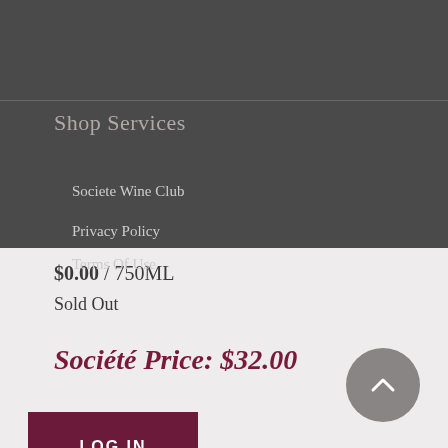Shop Services
Societe Wine Club
Privacy Policy
$0.00 / 750ML
Sold Out
Terms Of Use
Société Price: $32.00
LOG IN